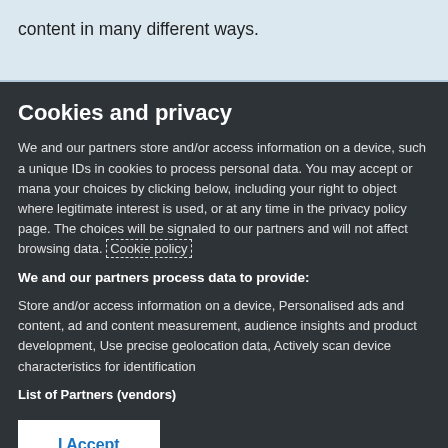content in many different ways.
Cookies and privacy
We and our partners store and/or access information on a device, such as unique IDs in cookies to process personal data. You may accept or manage your choices by clicking below, including your right to object where legitimate interest is used, or at any time in the privacy policy page. These choices will be signaled to our partners and will not affect browsing data. Cookie policy
We and our partners process data to provide:
Store and/or access information on a device, Personalised ads and content, ad and content measurement, audience insights and product development, Use precise geolocation data, Actively scan device characteristics for identification
List of Partners (vendors)
I Accept